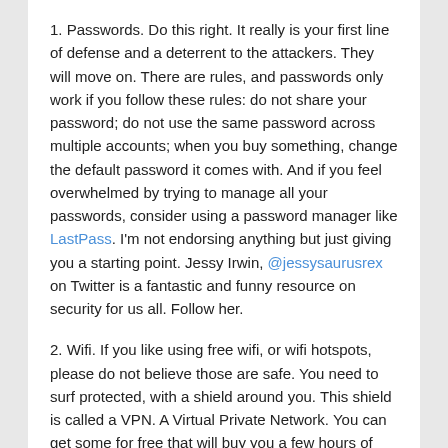1. Passwords. Do this right. It really is your first line of defense and a deterrent to the attackers. They will move on. There are rules, and passwords only work if you follow these rules: do not share your password; do not use the same password across multiple accounts; when you buy something, change the default password it comes with. And if you feel overwhelmed by trying to manage all your passwords, consider using a password manager like LastPass. I'm not endorsing anything but just giving you a starting point. Jessy Irwin, @jessysaurusrex on Twitter is a fantastic and funny resource on security for us all. Follow her.
2. Wifi. If you like using free wifi, or wifi hotspots, please do not believe those are safe. You need to surf protected, with a shield around you. This shield is called a VPN. A Virtual Private Network. You can get some for free that will buy you a few hours of security at a time or you can spend about $5 a month and get something really good. Why do you need it? When you go online, your IP address is visible to anyone. They can track you, mislead you, and